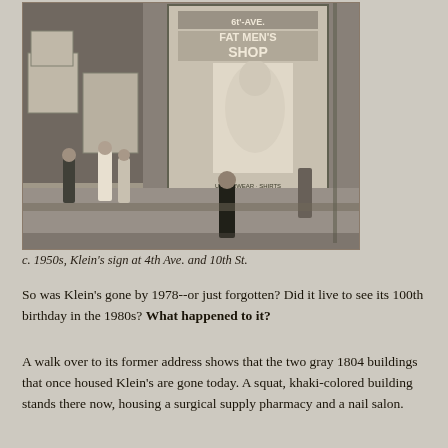[Figure (photo): Black and white photograph from c. 1950s showing Klein's sign at 4th Ave. and 10th St. The image shows a street scene with pedestrians and a large billboard advertising Fat Men's Shop, with people walking on the sidewalk outside storefronts.]
c. 1950s, Klein's sign at 4th Ave. and 10th St.
So was Klein's gone by 1978--or just forgotten? Did it live to see its 100th birthday in the 1980s? What happened to it?
A walk over to its former address shows that the two gray 1804 buildings that once housed Klein's are gone today. A squat, khaki-colored building stands there now, housing a surgical supply pharmacy and a nail salon.